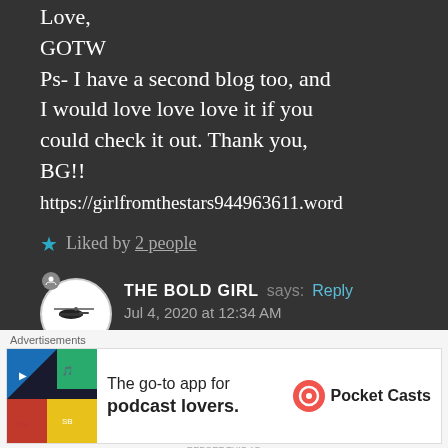Love,
GOTW
Ps- I have a second blog too, and I would love love love it if you could check it out. Thank you, BG!!
https://girlfromthestars944963611.word
★ Liked by 2 people
THE BOLD GIRL says: Reply
Jul 4, 2020 at 12:34 AM
I don't think people even know
[Figure (screenshot): Advertisement banner for Pocket Casts app: 'The go-to app for podcast lovers.']